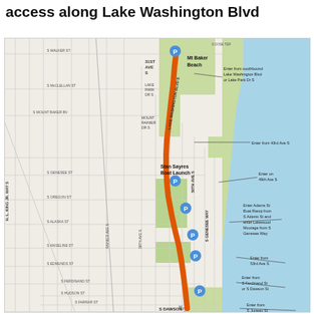access along Lake Washington Blvd
[Figure (map): Street map showing Lake Washington Boulevard with highlighted route (orange) and parking access points. Labels include Mt Baker Beach, Stan Sayres Boat Launch, and multiple parking (P) icons with entry instructions from streets including 43rd Ave S, 49th Ave S, 53rd Ave S, Adams St Boat Ramp from S Adams St, Lakewood Moorage from S Genesee Way, S Ferdinand St or S Dawson St, S Juneau St. Cross streets labeled include S Walker St, S McClellan St, S Mount Baker BV, S Genesee St, S Oregon St, S Alaska St, S Angeline St, S Edmunds St, S Ferdinand St, S Hudson St, S Farrar St, S Dawson St. Vertical street labels include Lake Washington Blvd S, 50th Ave S, S Genesee Way, Rainier Ave S, 38th Ave S, H.L. King Jr Way S.]